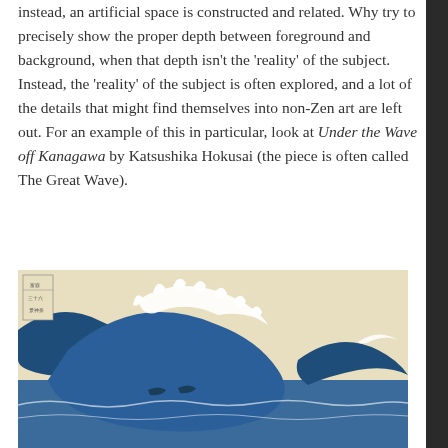instead, an artificial space is constructed and related. Why try to precisely show the proper depth between foreground and background, when that depth isn't the 'reality' of the subject. Instead, the 'reality' of the subject is often explored, and a lot of the details that might find themselves into non-Zen art are left out. For an example of this in particular, look at Under the Wave off Kanagawa by Katsushika Hokusai (the piece is often called The Great Wave).
[Figure (illustration): The Great Wave off Kanagawa by Katsushika Hokusai — a Japanese woodblock print showing a large ocean wave with Mount Fuji visible in the background, boats beneath the wave, and white foamy wave tips.]